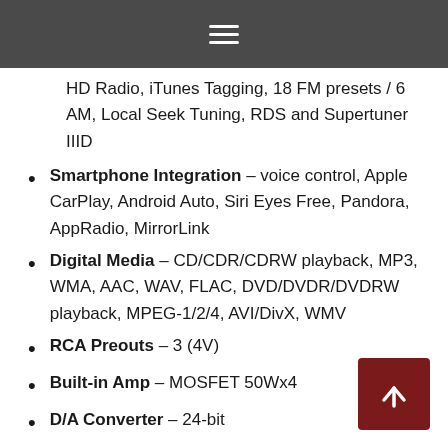menu icon (hamburger)
HD Radio, iTunes Tagging, 18 FM presets / 6 AM, Local Seek Tuning, RDS and Supertuner IIID
Smartphone Integration – voice control, Apple CarPlay, Android Auto, Siri Eyes Free, Pandora, AppRadio, MirrorLink
Digital Media – CD/CDR/CDRW playback, MP3, WMA, AAC, WAV, FLAC, DVD/DVDR/DVDRW playback, MPEG-1/2/4, AVI/DivX, WMV
RCA Preouts – 3 (4V)
Built-in Amp – MOSFET 50Wx4
D/A Converter – 24-bit